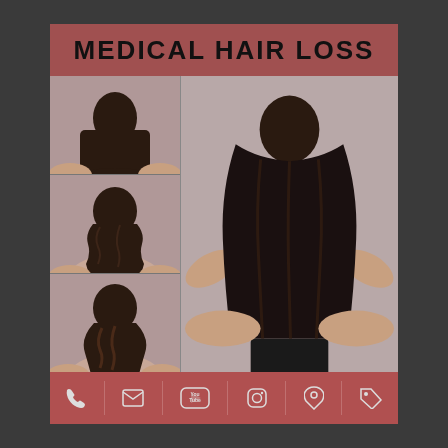MEDICAL HAIR LOSS
[Figure (photo): Before and after hair loss treatment photos. Left column shows three before photos of a woman's hair from behind showing thinning/curly hair. Right column shows one large after photo of a woman with full, straight, healthy hair from behind.]
Social media and contact icons: phone, email, YouTube, Instagram, location pin, tag